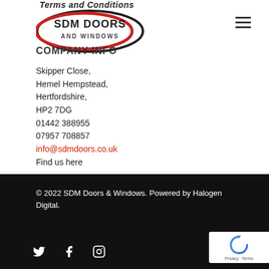Terms and Conditions
[Figure (logo): SDM Doors and Windows logo — oval shape with black outer border, red inner oval stroke, bold text 'SDM DOORS AND WINDOWS' inside]
COMPANY INFO
Skipper Close,
Hemel Hempstead,
Hertfordshire,
HP2 7DG
01442 388955
07957 708857
info@sdmdoors.co.uk
Find us here
© 2022 SDM Doors & Windows. Powered by Halogen Digital.